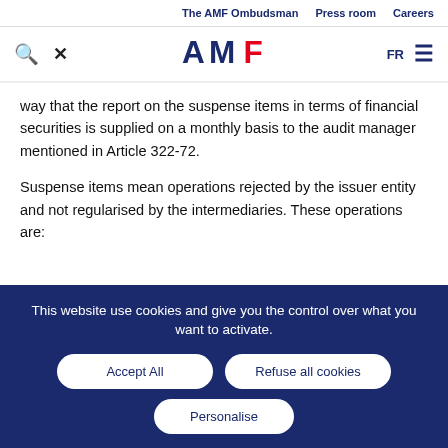The AMF Ombudsman   Press room   Careers
[Figure (logo): AMF logo with search icon, X icon, FR language toggle, and hamburger menu]
way that the report on the suspense items in terms of financial securities is supplied on a monthly basis to the audit manager mentioned in Article 322-72.
Suspense items mean operations rejected by the issuer entity and not regularised by the intermediaries. These operations are:
This website use cookies and give you the control over what you want to activate.
Accept All   Refuse all cookies   Personalise